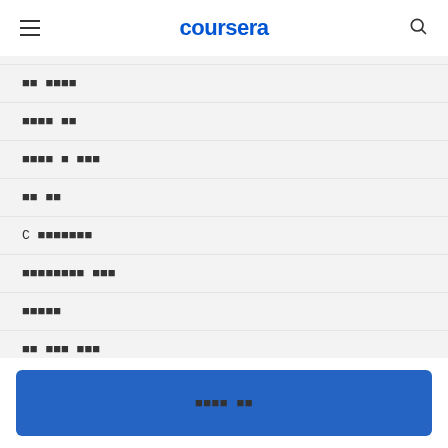coursera
██ ████
████ ██
████ █ ███
██ ██
C ███████
████████ ███
█████
██ ███ ███
████ ██